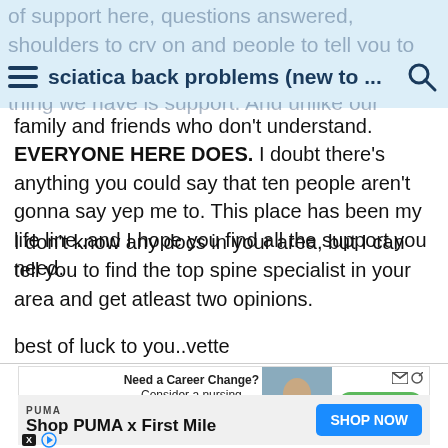sciatica back problems (new to ...
of support here, questions answered, shoulders to cry on and people to tell you to quit lying or maker our doctors need...the one thing we have is support. And unlike our family and friends who don't understand. EVERYONE HERE DOES. I doubt there's anything you could say that ten people aren't gonna say yep me to. This place has been my life line..and I hope you find all the support you need.
I don't know any docs in your area, but I can tell you to find the top spine specialist in your area and get atleast two opinions.
best of luck to you..vette
[Figure (infographic): Valley Health advertisement: Need a Career Change? Consider a nursing career at Valley Health. Apply Today button. Woman in blue scrubs photo.]
[Figure (infographic): PUMA advertisement: Shop PUMA x First Mile. SHOP NOW button in blue.]